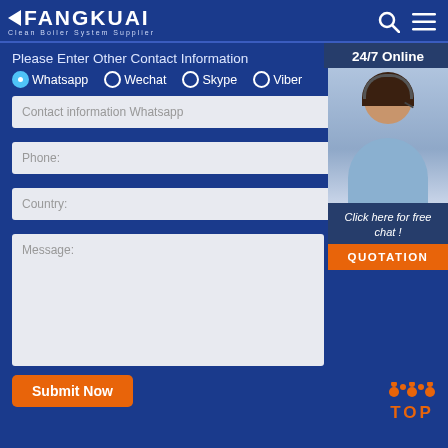FANGKUAI Clean Boiler System Supplier
Please Enter Other Contact Information
Whatsapp | Wechat | Skype | Viber
Contact information Whatsapp
Phone:
Country:
Message:
[Figure (photo): Customer service representative woman wearing headset smiling, with 24/7 Online label and Click here for free chat! text and QUOTATION button]
Submit Now
TOP